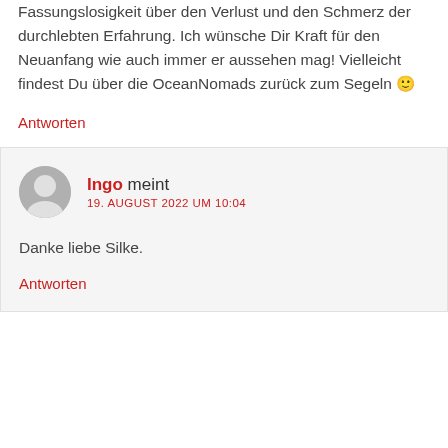Fassungslosigkeit über den Verlust und den Schmerz der durchlebten Erfahrung. Ich wünsche Dir Kraft für den Neuanfang wie auch immer er aussehen mag! Vielleicht findest Du über die OceanNomads zurück zum Segeln 🙂
Antworten
Ingo meint
19. AUGUST 2022 UM 10:04
Danke liebe Silke.
Antworten